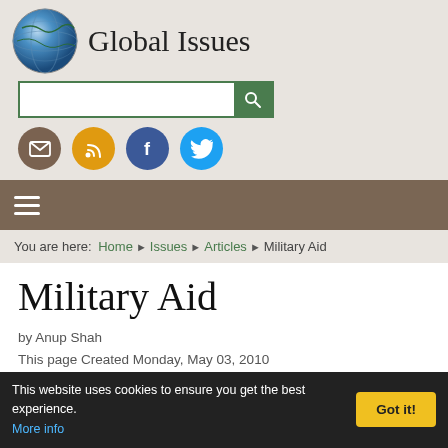Global Issues
[Figure (logo): Globe icon for Global Issues website]
You are here: Home > Issues > Articles > Military Aid
Military Aid
by Anup Shah
This page Created Monday, May 03, 2010
On this…
This website uses cookies to ensure you get the best experience. More info